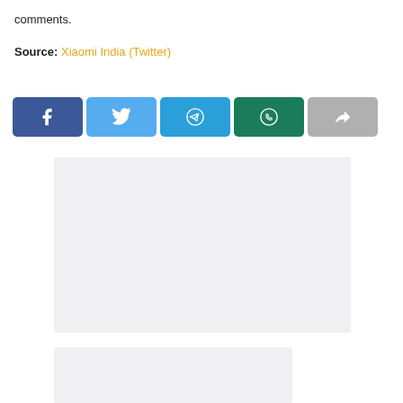comments.
Source: Xiaomi India (Twitter)
[Figure (screenshot): Row of five social share buttons: Facebook (dark blue), Twitter (light blue), Telegram (blue), WhatsApp (dark teal), and a generic share button (gray), each with the respective icon in white.]
[Figure (other): Light gray advertisement placeholder block (large).]
[Figure (other): Light gray advertisement placeholder block (small, partial).]